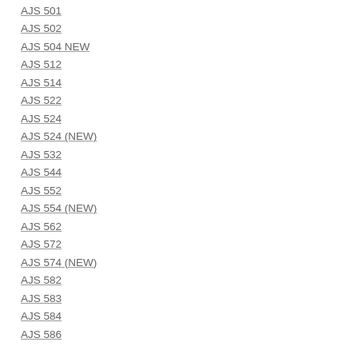AJS 501
AJS 502
AJS 504 NEW
AJS 512
AJS 514
AJS 522
AJS 524
AJS 524 (NEW)
AJS 532
AJS 544
AJS 552
AJS 554 (NEW)
AJS 562
AJS 572
AJS 574 (NEW)
AJS 582
AJS 583
AJS 584
AJS 586